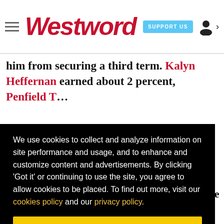Westword | SUPPORT US
him from securing a third term. Kalyn Heffernan earned about 2 percent, Penfield T... about 15 percent. Lisa Calderón ...t 18 ...r ...0 ...te he
We use cookies to collect and analyze information on site performance and usage, and to enhance and customize content and advertisements. By clicking 'Got it' or continuing to use the site, you agree to allow cookies to be placed. To find out more, visit our cookies policy and our privacy policy.
Got it!
...n ...nded ..."Let's get to work."